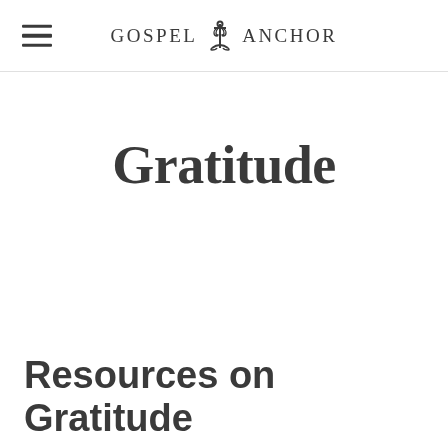GOSPEL ANCHOR
Gratitude
Resources on Gratitude